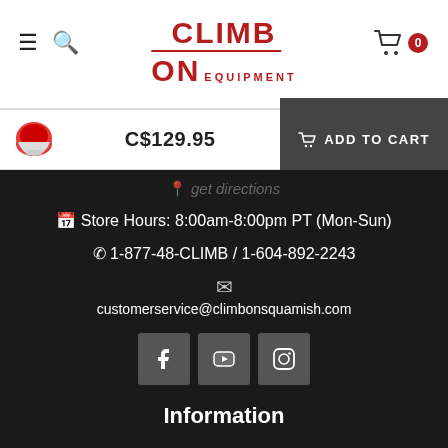[Figure (logo): Climb On Equipment logo with red text and horizontal rule]
[Figure (screenshot): Shopping cart icon with badge showing 0]
[Figure (screenshot): Sticky add-to-cart bar with helmet product image, price C$129.95 and ADD TO CART button]
Store Hours: 8:00am-8:00pm PT (Mon-Sun)
1-877-48-CLIMB / 1-604-892-2243
customerservice@climbonsquamish.com
[Figure (screenshot): Social media icons: Facebook, YouTube, Instagram]
Information